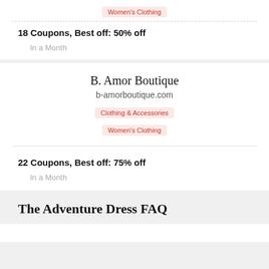Women's Clothing
18 Coupons,  Best off: 50% off
In a Month
B. Amor Boutique
b-amorboutique.com
Clothing & Accessories
Women's Clothing
22 Coupons,  Best off: 75% off
In a Month
The Adventure Dress FAQ